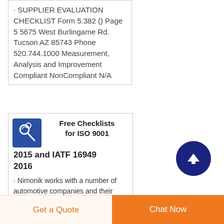· SUPPLIER EVALUATION CHECKLIST Form 5.382 () Page 5 5675 West Burlingame Rd. Tucson AZ 85743 Phone 520.744.1000 Measurement, Analysis and Improvement Compliant NonCompliant N/A
Free Checklists for ISO 9001 2015 and IATF 16949 2016
· Nimonik works with a number of automotive companies and their suppliers. One of the recurring
Get a Quote
Chat Now